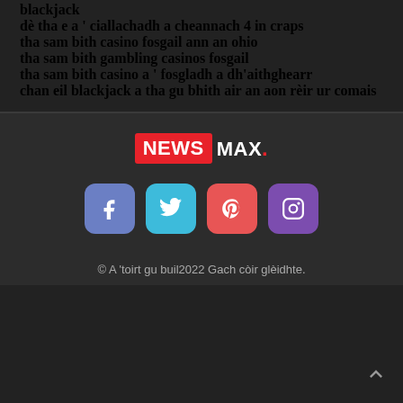blackjack
dè tha e a ' ciallachadh a cheannach 4 in craps
tha sam bith casino fosgail ann an ohio
tha sam bith gambling casinos fosgail
tha sam bith casino a ' fosgladh a dh'aithghearr
chan eil blackjack a tha gu bhith air an aon rèir ur comais
[Figure (logo): Newsmax logo with red NEWS badge and white MAX. text with red dot]
[Figure (infographic): Four social media icons: Facebook (blue-purple), Twitter (cyan), Pinterest (red), Instagram (purple)]
© A 'toirt gu buil2022 Gach còir glèidhte.